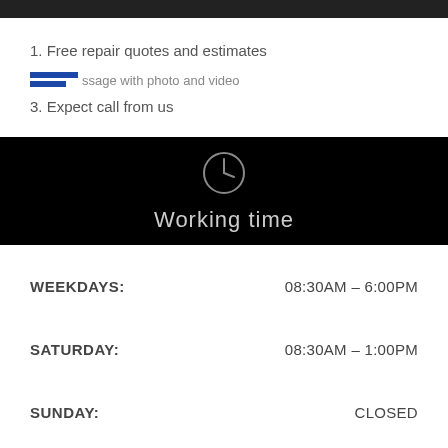1. Free repair quotes and estimates
2. [image] ssage with photo and video
3. Expect call from us
Working time
| Day | Hours |
| --- | --- |
| WEEKDAYS: | 08:30AM – 6:00PM |
| SATURDAY: | 08:30AM – 1:00PM |
| SUNDAY: | CLOSED |
| EMERGENCY: | 24HR / 7DAYS |